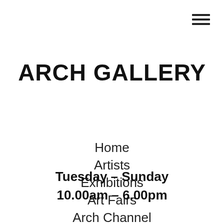[Figure (other): Hamburger menu icon (three horizontal lines) in top right corner]
ARCH GALLERY
Home
Artists
Exhibitions
Art Fairs
Arch Channel
About
🔲
Tuesday – Sunday
10.00am – 6.00pm